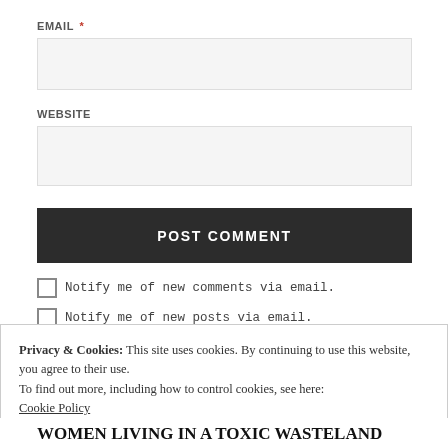EMAIL *
WEBSITE
POST COMMENT
Notify me of new comments via email.
Notify me of new posts via email.
Privacy & Cookies: This site uses cookies. By continuing to use this website, you agree to their use.
To find out more, including how to control cookies, see here:
Cookie Policy
Close and accept
WOMEN LIVING IN A TOXIC WASTELAND